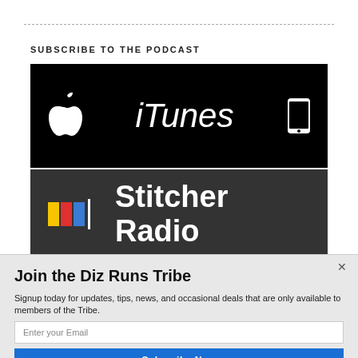SUBSCRIBE TO THE PODCAST
[Figure (logo): iTunes black banner with Apple logo, 'iTunes' text in white italic, and phone icon on right]
[Figure (logo): Stitcher Radio dark banner with colored block logo and 'Stitcher Radio' text in white bold]
Join the Diz Runs Tribe
Signup today for updates, tips, news, and occasional deals that are only available to members of the Tribe.